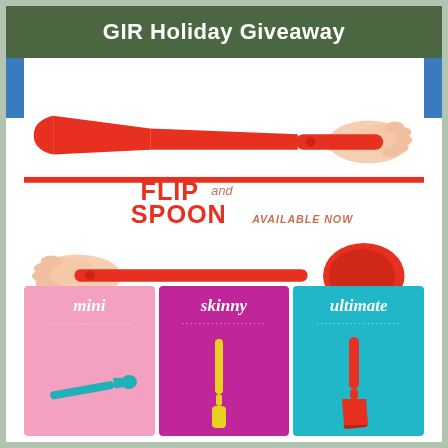GIR Holiday Giveaway
[Figure (photo): Red silicone spatula (flip) held by a hand from the right, and a red silicone spoon held by a hand from the left, with FLIP and SPOON AVAILABLE NOW text overlay in red and salmon colors]
[Figure (infographic): Three product cards: 'mini' on pink background showing a teal mini spatula, 'skinny' on magenta background showing a yellow skinny spatula, 'ultimate' on teal background showing a red ultimate spatula]